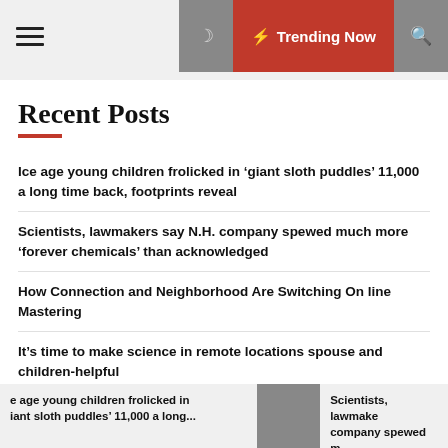≡ ☽ ⚡ Trending Now 🔍
Recent Posts
Ice age young children frolicked in ‘giant sloth puddles’ 11,000 a long time back, footprints reveal
Scientists, lawmakers say N.H. company spewed much more ‘forever chemicals’ than acknowledged
How Connection and Neighborhood Are Switching Online Mastering
It’s time to make science in remote locations spouse and children-helpful
e age young children frolicked in iant sloth puddles’ 11,000 a long... | Scientists, lawmake company spewed m...